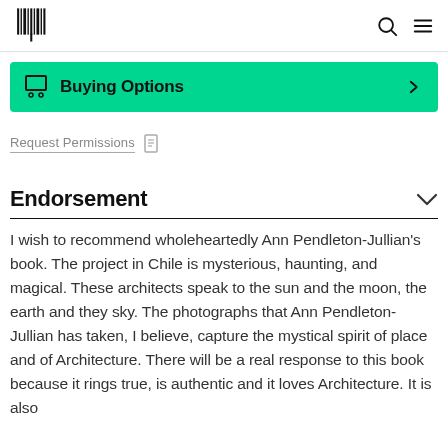[Logo] [Search icon] [Menu icon]
Buying Options
Request Permissions
Endorsement
I wish to recommend wholeheartedly Ann Pendleton-Jullian's book. The project in Chile is mysterious, haunting, and magical. These architects speak to the sun and the moon, the earth and they sky. The photographs that Ann Pendleton-Jullian has taken, I believe, capture the mystical spirit of place and of Architecture. There will be a real response to this book because it rings true, is authentic and it loves Architecture. It is also